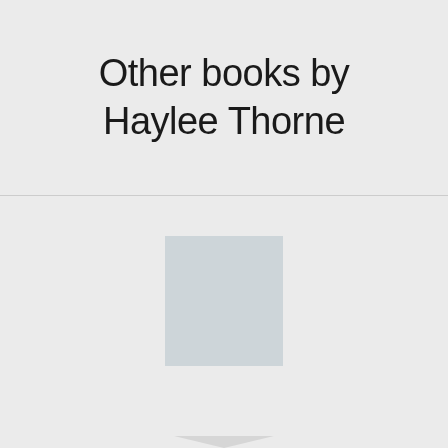Other books by Haylee Thorne
[Figure (illustration): A light blue-gray square placeholder for a book cover image, centered in the lower section of the page. Below the page is a downward-pointing chevron arrow shape.]